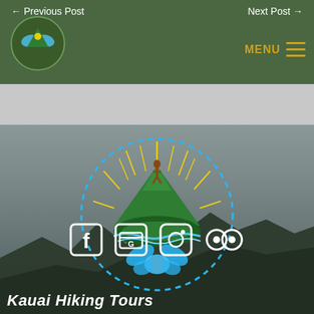← Previous Post    Next Post →
[Figure (logo): Kauai Hiking Tours logo: small circular emblem with green mountain and blue butterfly, top-left of navigation bar]
[Figure (logo): MENU icon with three horizontal lines in gold/orange]
[Figure (photo): Outdoor scenic photo of dark mountain ridgeline under overcast gray sky, with Kauai Hiking Tours logo centered (dotted circle border, green mountain peak with hiker silhouette and blue hibiscus flower)]
[Figure (infographic): Row of four social media icons: Facebook, Google Maps/My Business, Instagram, TripAdvisor]
Kauai Hiking Tours